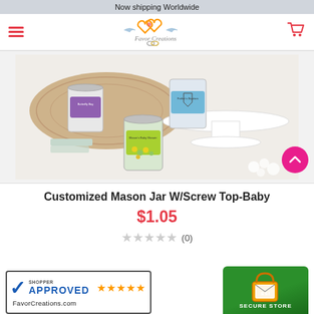Now shipping Worldwide
[Figure (logo): Favor Creations logo with two hearts and doves]
[Figure (photo): Three customized mason jars with personalized baby-themed labels filled with candy, displayed on a wooden cutting board and cake stand]
Customized Mason Jar W/Screw Top-Baby
$1.05
(0)
[Figure (logo): Shopper Approved badge with 5 gold stars and FavorCreations.com]
[Figure (logo): SSL Secure Store badge]